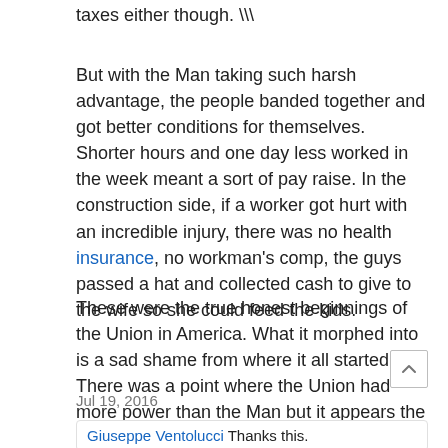taxes either though. \\
But with the Man taking such harsh advantage, the people banded together and got better conditions for themselves. Shorter hours and one day less worked in the week meant a sort of pay raise. In the construction side, if a worker got hurt with an incredible injury, there was no health insurance, no workman's comp, the guys passed a hat and collected cash to give to the wife so she could feed the kids.
These were the true honest beginnings of the Union in America. What it morphed into is a sad shame from where it all started. There was a point where the Union had more power than the Man but it appears the pendulum is swinging back to the Man's favor now.
Jul 19, 2016
Giuseppe Ventolucci Thanks this.